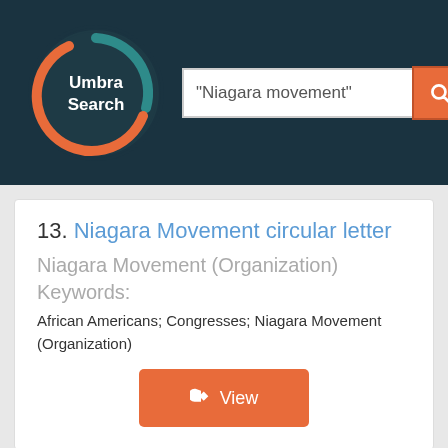[Figure (logo): Umbra Search circular logo with crescent shape in orange and teal on dark background]
"Niagara movement"
13. Niagara Movement circular letter
Niagara Movement (Organization)
Keywords:
African Americans; Congresses; Niagara Movement (Organization)
View
Text
[Figure (photo): Partial view of a historical document/letter with handwritten or typed text, yellowish paper]